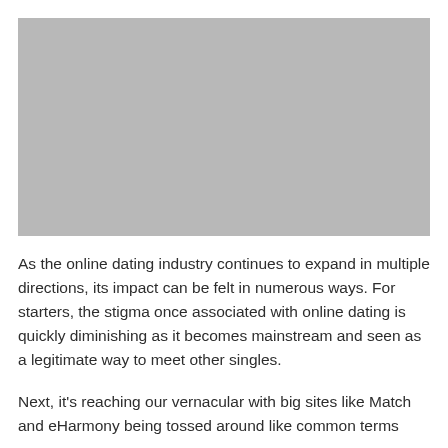[Figure (photo): Gray placeholder image occupying the top portion of the page]
As the online dating industry continues to expand in multiple directions, its impact can be felt in numerous ways. For starters, the stigma once associated with online dating is quickly diminishing as it becomes mainstream and seen as a legitimate way to meet other singles.
Next, it's reaching our vernacular with big sites like Match and eHarmony being tossed around like common terms